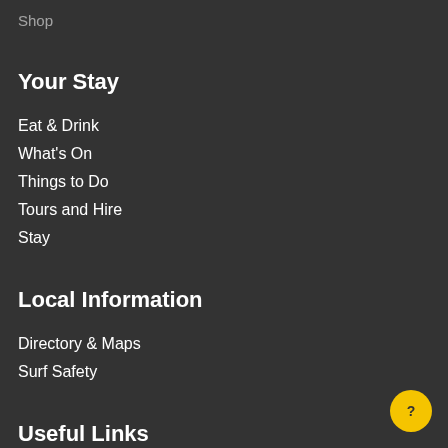Shop
Your Stay
Eat & Drink
What's On
Things to Do
Tours and Hire
Stay
Local Information
Directory & Maps
Surf Safety
Useful Links